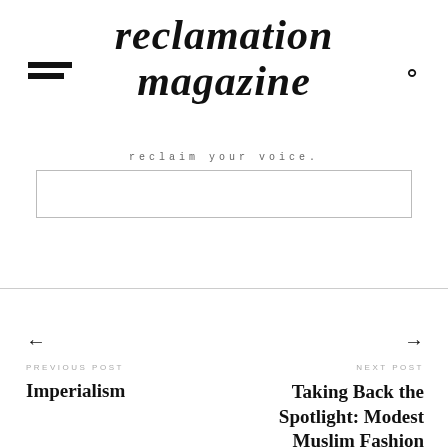reclamation magazine
reclaim your voice.
[Figure (screenshot): Search input box, empty, with light border]
← PREVIOUS POST Imperialism
→ NEXT POST Taking Back the Spotlight: Modest Muslim Fashion